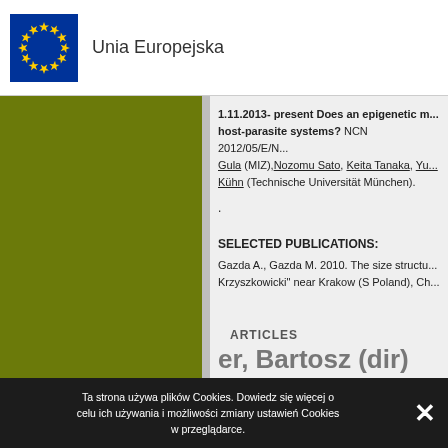[Figure (logo): European Union flag logo with blue background and yellow stars circle]
Unia Europejska
[Figure (illustration): Olive green vertical sidebar panel]
1.11.2013- present Does an epigenetic m... host-parasite systems? NCN 2012/05/E/N... Gula (MIZ),Nozomu Sato, Keita Tanaka, Yu... Kühn (Technische Universität München).
.
SELECTED PUBLICATIONS:
Gazda A., Gazda M. 2010. The size structu... Krzyszkowicki" near Krakow (S Poland), Ch...
ARTICLES
er, Bartosz (dir)
Ta strona używa plików Cookies. Dowiedz się więcej o celu ich używania i możliwości zmiany ustawień Cookies w przeglądarce.